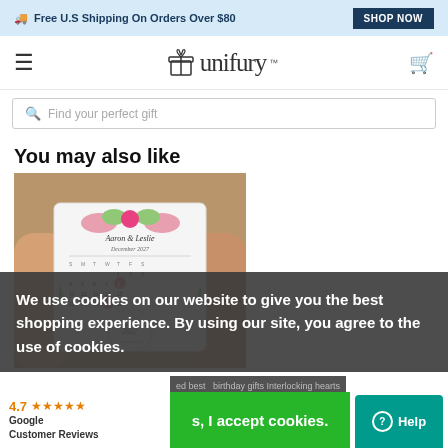🚚 Free U.S Shipping On Orders Over $80  SHOP NOW
[Figure (logo): Unifury logo with gift box icon and brand name 'unifury']
Find your perfect gift
You may also like
[Figure (photo): Hands holding a personalized wedding calendar print with names 'Aaron & Leslie, December 2027' and floral decoration]
We use cookies on our website to give you the best shopping experience. By using our site, you agree to the use of cookies.
4.7 ★★★★★ Google Customer Reviews
s, I accept cookies.
ed best birthday gifts Interlocking hearts